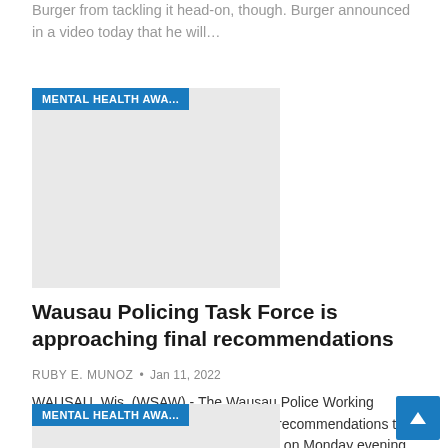Burger from tackling it head-on, though. Burger announced in a video today that he will…
[Figure (other): News article thumbnail image with MENTAL HEALTH AWA... category label in blue]
Wausau Policing Task Force is approaching final recommendations
RUBY E. MUNOZ  •  Jan 11, 2022
WAUSAU, Wis. (WSAW) - The Wausau Police Working Group is getting closer to submitting its recommendations to the City Council. The task force meeting on Monday evening has been postponed but there is more of a feel for what their…
[Figure (other): News article thumbnail image with MENTAL HEALTH AWA... category label in blue]